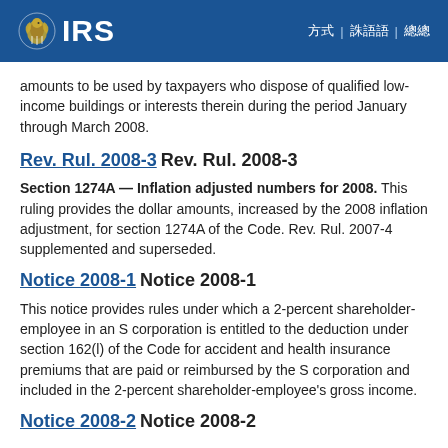IRS
amounts to be used by taxpayers who dispose of qualified low-income buildings or interests therein during the period January through March 2008.
Rev. Rul. 2008-3 Rev. Rul. 2008-3
Section 1274A — Inflation adjusted numbers for 2008. This ruling provides the dollar amounts, increased by the 2008 inflation adjustment, for section 1274A of the Code. Rev. Rul. 2007-4 supplemented and superseded.
Notice 2008-1 Notice 2008-1
This notice provides rules under which a 2-percent shareholder-employee in an S corporation is entitled to the deduction under section 162(l) of the Code for accident and health insurance premiums that are paid or reimbursed by the S corporation and included in the 2-percent shareholder-employee's gross income.
Notice 2008-2 Notice 2008-2